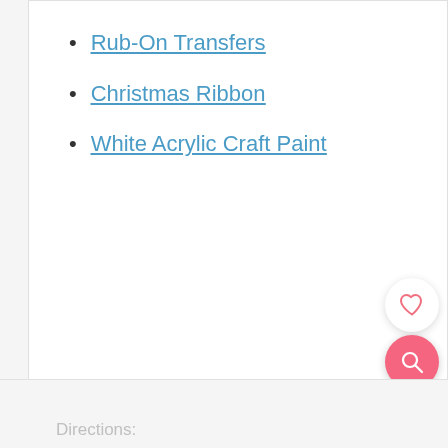Rub-On Transfers
Christmas Ribbon
White Acrylic Craft Paint
71
Directions: